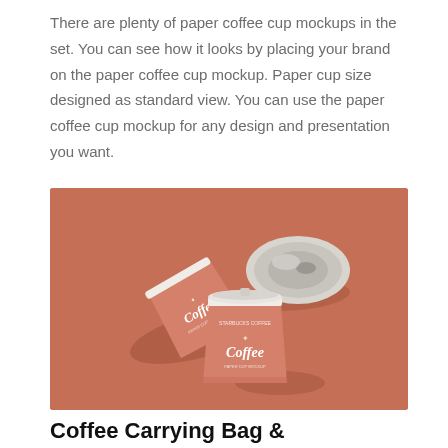There are plenty of paper coffee cup mockups in the set. You can see how it looks by placing your brand on the paper coffee cup mockup. Paper cup size designed as standard view. You can use the paper coffee cup mockup for any design and presentation you want.
[Figure (photo): Product mockup photo showing three salmon/terracotta-colored paper coffee cups on a matching terracotta background. One cup is tilted on its side showing branding, one is viewed from top with a plastic lid, and one is upright with a lid. All cups show a 'Coffee' brand logo.]
Coffee Carrying Bag & Box